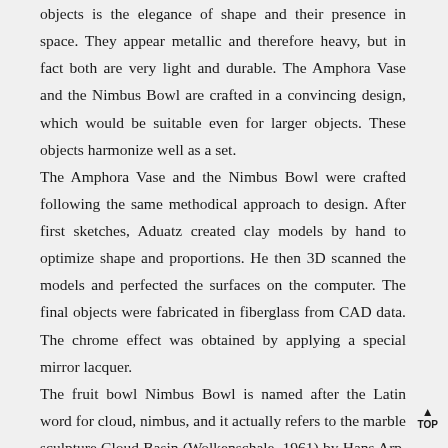objects is the elegance of shape and their presence in space. They appear metallic and therefore heavy, but in fact both are very light and durable. The Amphora Vase and the Nimbus Bowl are crafted in a convincing design, which would be suitable even for larger objects. These objects harmonize well as a set.
The Amphora Vase and the Nimbus Bowl were crafted following the same methodical approach to design. After first sketches, Aduatz created clay models by hand to optimize shape and proportions. He then 3D scanned the models and perfected the surfaces on the computer. The final objects were fabricated in fiberglass from CAD data. The chrome effect was obtained by applying a special mirror lacquer.
The fruit bowl Nimbus Bowl is named after the Latin word for cloud, nimbus, and it actually refers to the marble sculpture Cloud Basin (Wolkenschale, 1961) by Hans Arp. In his playfulness and variety of form Aduatz easily bridges the gap of about fifty years to